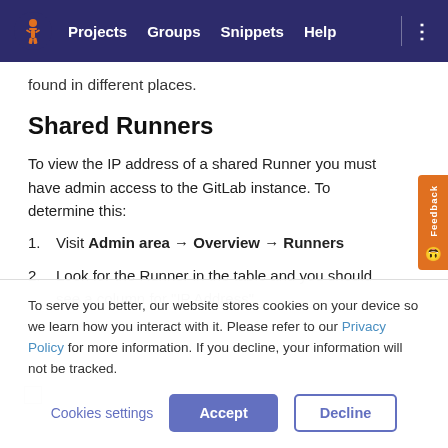Projects  Groups  Snippets  Help
found in different places.
Shared Runners
To view the IP address of a shared Runner you must have admin access to the GitLab instance. To determine this:
Visit Admin area → Overview → Runners
Look for the Runner in the table and you should see a column for "IP Address"
To serve you better, our website stores cookies on your device so we learn how you interact with it. Please refer to our Privacy Policy for more information. If you decline, your information will not be tracked.